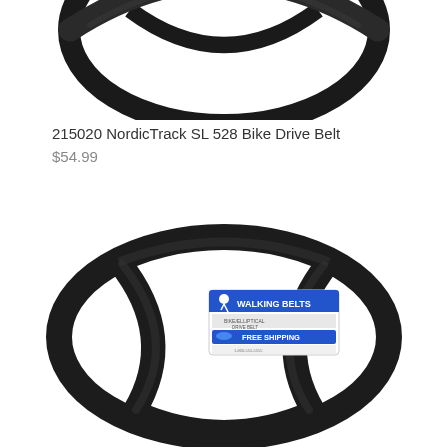[Figure (photo): Top portion of a black multi-rib drive belt looped in a circular shape, cropped at top, shown on white background.]
215020 NordicTrack SL 528 Bike Drive Belt
$54.99
[Figure (photo): Full black multi-rib drive belt coiled in an oval/peace-sign loop with a Walking Belts branded label tag attached, shown on white background.]